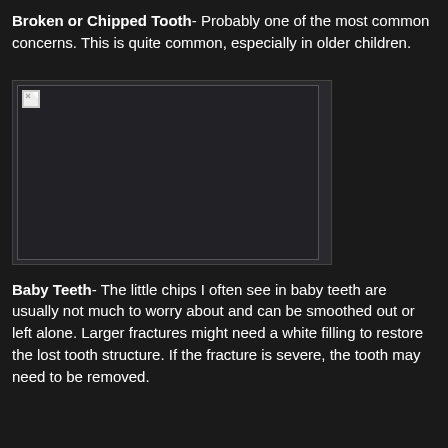Broken or Chipped Tooth- Probably one of the most common concerns. This is quite common, especially in older children.
[Figure (photo): Placeholder image (failed to load) showing a broken or chipped tooth example]
Baby Teeth- The little chips I often see in baby teeth are usually not much to worry about and can be smoothed out or left alone. Larger fractures might need a white filling to restore the lost tooth structure. If the fracture is severe, the tooth may need to be removed.